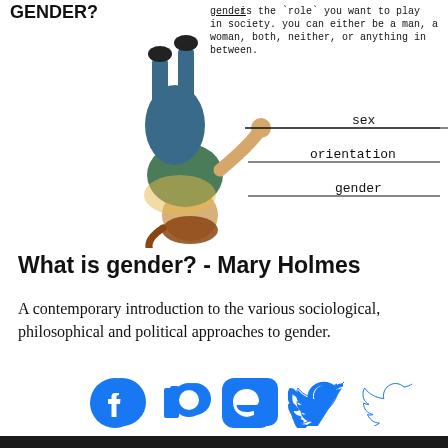[Figure (infographic): Illustration of a child hanging upside down with lines pointing to 'sex', 'orientation', and 'gender'. Top text reads 'GENDER? gender is the role you want to play in society. you can either be a man, a woman, both, neither, or anything in between.']
What is gender? - Mary Holmes
A contemporary introduction to the various sociological, philosophical and political approaches to gender.
[Figure (infographic): Social media icons: Facebook, Patreon, Mastodon, Twitter — all in blue]